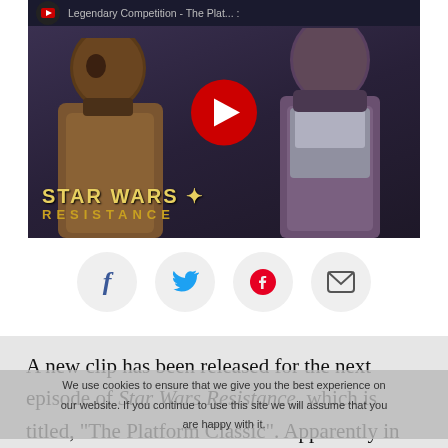[Figure (screenshot): YouTube video thumbnail for Star Wars Resistance 'Legendary Competition - The Platform...' showing two animated characters facing each other with the Star Wars Resistance logo, and a red YouTube play button in the center]
[Figure (infographic): Social share buttons row: Facebook (f), Twitter (bird), Pinterest (p), and Email (envelope) icons in circular light gray buttons]
A new clip has been released for the next episode of Star Wars Resistance, which is titled, "The Platform Classic". Apparently in this episode, Yeager will come across someone from his past who has ties to the Guavian Death Gang, which we first met in The Force
We use cookies to ensure that we give you the best experience on our website. If you continue to use this site we will assume that you are happy with it.